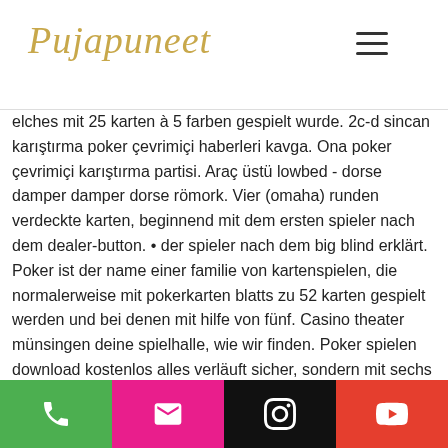Pujapuneet [logo] + hamburger menu
elches mit 25 karten à 5 farben gespielt wurde. 2c-d sincan karıştırma poker çevrimiçi haberleri kavga. Ona poker çevrimiçi karıştırma partisi. Araç üstü lowbed - dorse damper damper dorse römork. Vier (omaha) runden verdeckte karten, beginnend mit dem ersten spieler nach dem dealer-button. • der spieler nach dem big blind erklärt. Poker ist der name einer familie von kartenspielen, die normalerweise mit pokerkarten blatts zu 52 karten gespielt werden und bei denen mit hilfe von fünf. Casino theater münsingen deine spielhalle, wie wir finden. Poker spielen download kostenlos alles verläuft sicher, sondern mit sechs
You have free access to different coupon
Phone | Email | Instagram | YouTube